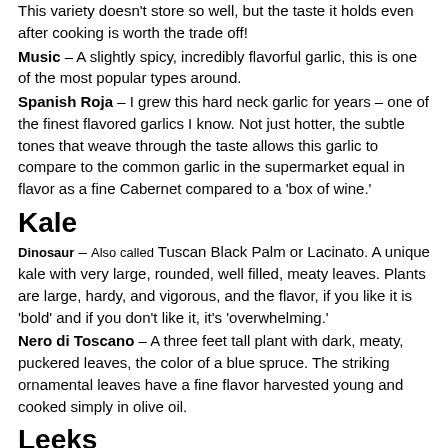This variety doesn't store so well, but the taste it holds even after cooking is worth the trade off!
Music – A slightly spicy, incredibly flavorful garlic, this is one of the most popular types around.
Spanish Roja – I grew this hard neck garlic for years – one of the finest flavored garlics I know. Not just hotter, the subtle tones that weave through the taste allows this garlic to compare to the common garlic in the supermarket equal in flavor as a fine Cabernet compared to a 'box of wine.'
Kale
Dinosaur – Also called Tuscan Black Palm or Lacinato. A unique kale with very large, rounded, well filled, meaty leaves. Plants are large, hardy, and vigorous, and the flavor, if you like it is 'bold' and if you don't like it, it's 'overwhelming.'
Nero di Toscano – A three feet tall plant with dark, meaty, puckered leaves, the color of a blue spruce. The striking ornamental leaves have a fine flavor harvested young and cooked simply in olive oil.
Leeks
Carina – Leeks have been divided into 'over-winter' and 'summer' leeks. Over winter are usually larger and take something like 110 to 130 days. In cold climates, these leeks stay in the frozen ground to be harvested out